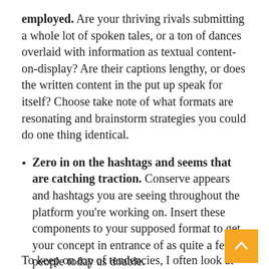employed. Are your thriving rivals submitting a whole lot of spoken tales, or a ton of dances overlaid with information as textual content-on-display? Are their captions lengthy, or does the written content in the put up speak for itself? Choose take note of what formats are resonating and brainstorm strategies you could do one thing identical.
Zero in on the hashtags and seems that are catching traction. Conserve appears and hashtags you are seeing throughout the platform you're working on. Insert these components to your supposed format to get your concept in entrance of as quite a few people today as doable.
To keep on top of tendencies, I often look at